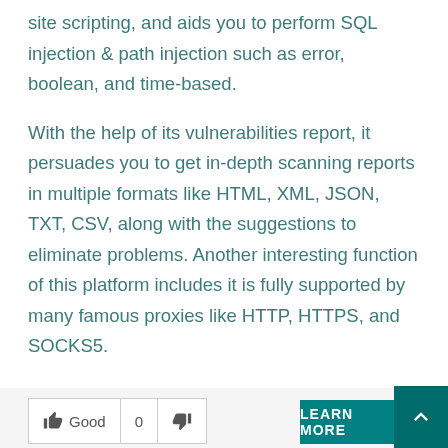site scripting, and aids you to perform SQL injection & path injection such as error, boolean, and time-based.
With the help of its vulnerabilities report, it persuades you to get in-depth scanning reports in multiple formats like HTML, XML, JSON, TXT, CSV, along with the suggestions to eliminate problems. Another interesting function of this platform includes it is fully supported by many famous proxies like HTTP, HTTPS, and SOCKS5.